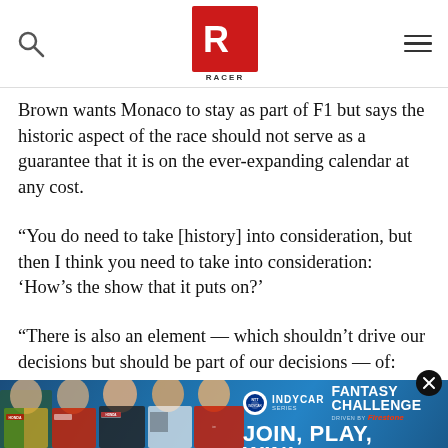RACER (logo/navigation bar)
Brown wants Monaco to stay as part of F1 but says the historic aspect of the race should not serve as a guarantee that it is on the ever-expanding calendar at any cost.
“You do need to take [history] into consideration, but then I think you need to take into consideration: ‘How’s the show that it puts on?’
“There is also an element — which shouldn’t drive our decisions but should be part of our decisions — of: ‘What’s the economic contribution to the sport?’
ADVERTISEMENT
[Figure (photo): NTT IndyCar Series Fantasy Challenge advertisement banner featuring five racing drivers in team uniforms with 'JOIN, PLAY, WIN!' text]